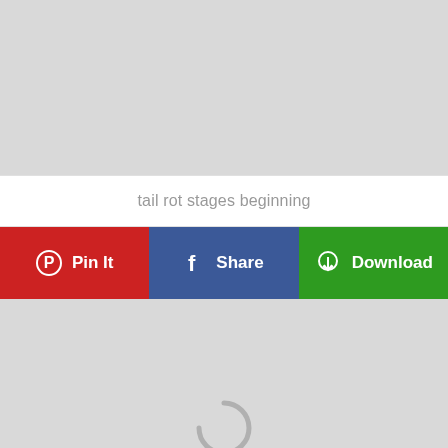[Figure (photo): Gray placeholder image block at top of page]
tail rot stages beginning
[Figure (screenshot): Row of three buttons: Pin It (red), Share (blue/Facebook), Download (green) with respective icons]
[Figure (photo): Gray placeholder image block at bottom of page with loading spinner icon partially visible at bottom center]